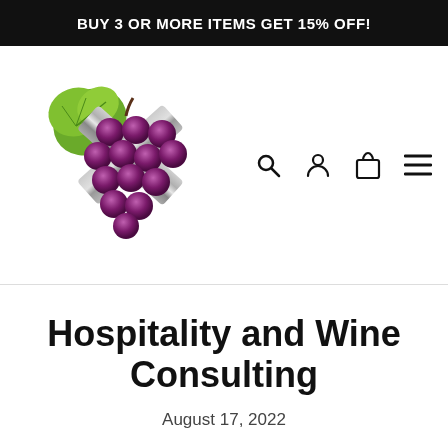BUY 3 OR MORE ITEMS GET 15% OFF!
[Figure (logo): Wine consulting logo: cluster of dark purple grapes with green leaf and crossed silver metallic bars/knives forming an X shape]
Hospitality and Wine Consulting
August 17, 2022